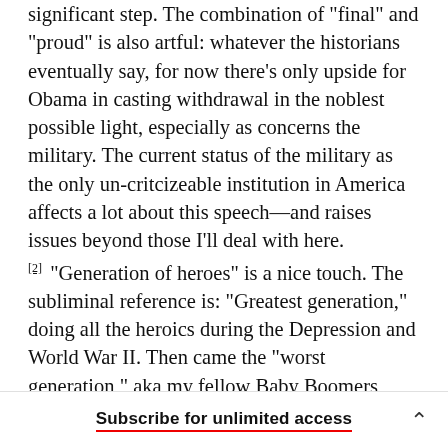significant step. The combination of "final" and "proud" is also artful: whatever the historians eventually say, for now there's only upside for Obama in casting withdrawal in the noblest possible light, especially as concerns the military. The current status of the military as the only un-critcizeable institution in America affects a lot about this speech—and raises issues beyond those I'll deal with here.
[2] "Generation of heroes" is a nice touch. The subliminal reference is: "Greatest generation," doing all the heroics during the Depression and World War II. Then came the "worst generation," aka my fellow Baby Boomers, wrecking the country from their indulgent youth through the expensive impending
Subscribe for unlimited access